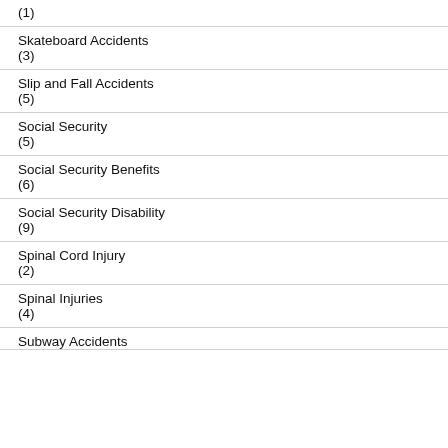(1)
Skateboard Accidents
(3)
Slip and Fall Accidents
(5)
Social Security
(5)
Social Security Benefits
(6)
Social Security Disability
(9)
Spinal Cord Injury
(2)
Spinal Injuries
(4)
Subway Accidents